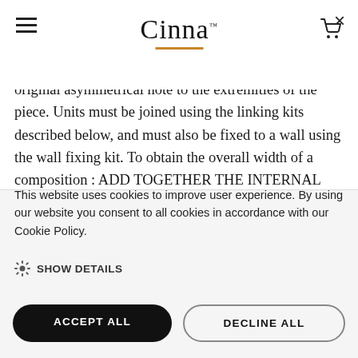Cinna™
bring a touch of originality to what is essentially a highly structured piece. The staggered shelves enable modules to perfectly interlock whilst bringing a highly original asymmetrical note to the extremities of the piece. Units must be joined using the linking kits described below, and must also be fixed to a wall using the wall fixing kit. To obtain the overall width of a composition : ADD TOGETHER THE INTERNAL DIMENSIONS OF THE MODULES (361 OR 720) AND THEN ADD 167 mm FOR THE SIDE
This website uses cookies to improve user experience. By using our website you consent to all cookies in accordance with our Cookie Policy.
SHOW DETAILS
ACCEPT ALL
DECLINE ALL